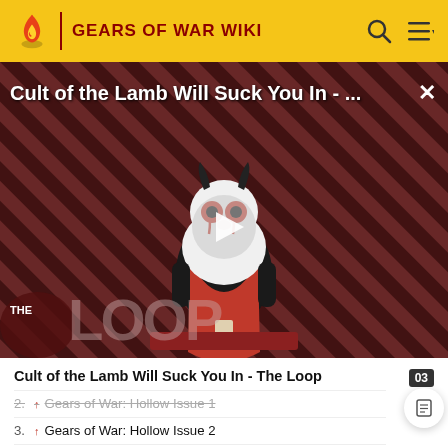GEARS OF WAR WIKI
[Figure (screenshot): Video thumbnail for 'Cult of the Lamb Will Suck You In - The Loop' showing a cartoon lamb character with red eyes on a red and black diagonal striped background. A play button is overlaid in the center. The Loop logo appears at the bottom left. A close (X) button is at the top right.]
Cult of the Lamb Will Suck You In - The Loop
2. ↑ Gears of War: Hollow Issue 1
3. ↑ Gears of War: Hollow Issue 2
4. ↑ Gears of War: Hollow Issue 6
5. ↑ Gears of War: Barren issue ten